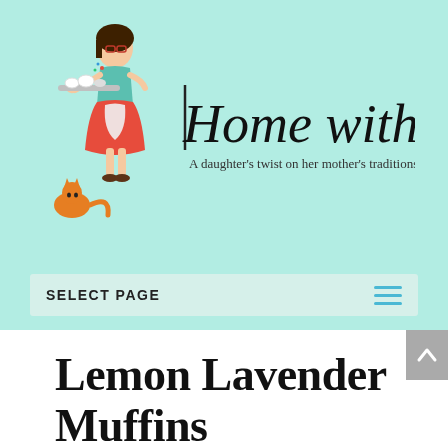[Figure (logo): Home with a Twist blog logo — illustration of a woman in a red skirt and teal jacket holding a tray, with an orange cat at her feet, alongside cursive text 'Home with a Twist' and tagline 'A daughter's twist on her mother's traditions']
SELECT PAGE
Lemon Lavender Muffins
May 21, 2019 | (Sweet Tooth) | 1 comment